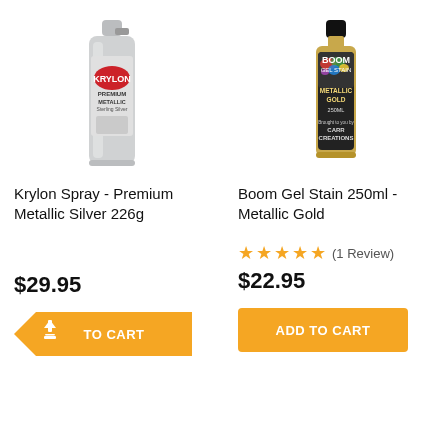[Figure (photo): Krylon Premium Metallic Silver spray can, silver aerosol can with red Krylon logo]
Krylon Spray - Premium Metallic Silver 226g
$29.95
[Figure (infographic): Add to cart button with yellow arrow/tag shape and upload icon]
[Figure (photo): Boom Gel Stain 250ml Metallic Gold bottle, gold bottle with colorful label from Carr Creations]
Boom Gel Stain 250ml - Metallic Gold
★★★★★ (1 Review)
$22.95
[Figure (infographic): Add to cart yellow button]